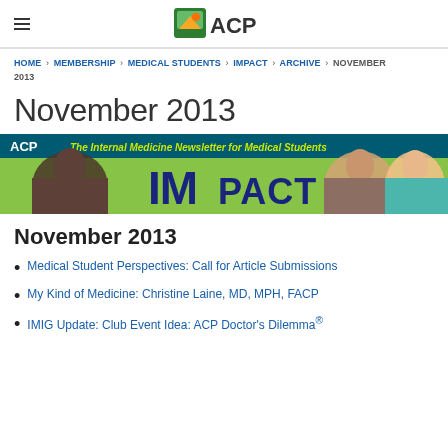ACP logo and hamburger menu
HOME > MEMBERSHIP > MEDICAL STUDENTS > IMPACT > ARCHIVE > NOVEMBER 2013
November 2013
[Figure (illustration): ACP IMpact banner: The Internal Medicine Newsletter for Medical Students, with photos of three medical students on green background]
November 2013
Medical Student Perspectives: Call for Article Submissions
My Kind of Medicine: Christine Laine, MD, MPH, FACP
IMIG Update: Club Event Idea: ACP Doctor's Dilemma®